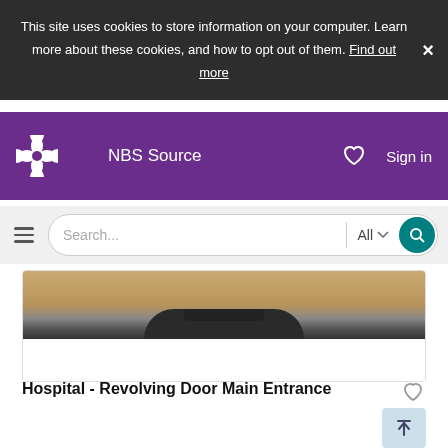This site uses cookies to store information on your computer. Learn more about these cookies, and how to opt out of them. Find out more
NBS Source  Sign in
[Figure (screenshot): Search bar with hamburger menu, text input 'Search...', 'All' dropdown, and teal search button]
[Figure (photo): Photo of a revolving door entrance to a hospital]
Hospital - Revolving Door Main Entrance